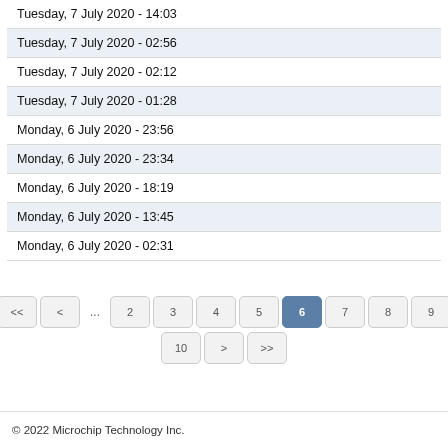| Date |  |
| --- | --- |
| Tuesday, 7 July 2020 - 14:03 |  |
| Tuesday, 7 July 2020 - 02:56 |  |
| Tuesday, 7 July 2020 - 02:12 |  |
| Tuesday, 7 July 2020 - 01:28 |  |
| Monday, 6 July 2020 - 23:56 |  |
| Monday, 6 July 2020 - 23:34 |  |
| Monday, 6 July 2020 - 18:19 |  |
| Monday, 6 July 2020 - 13:45 |  |
| Monday, 6 July 2020 - 02:31 |  |
<< < ... 2 3 4 5 6 7 8 9 10 > >>
© 2022 Microchip Technology Inc.